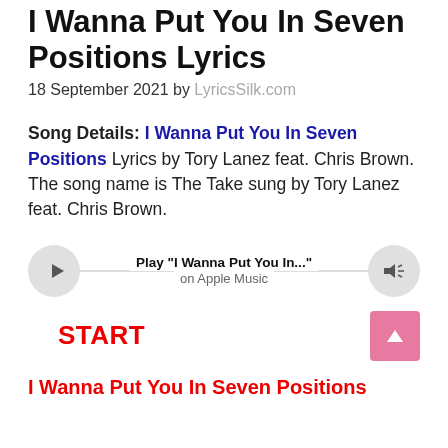I Wanna Put You In Seven Positions Lyrics
18 September 2021 by LyricsSilk.com
Song Details: I Wanna Put You In Seven Positions Lyrics by Tory Lanez feat. Chris Brown. The song name is The Take sung by Tory Lanez feat. Chris Brown.
[Figure (other): Music player widget with play button, track title 'Play "I Wanna Put You In..."', subtitle 'on Apple Music', and volume button]
START
I Wanna Put You In Seven Positions